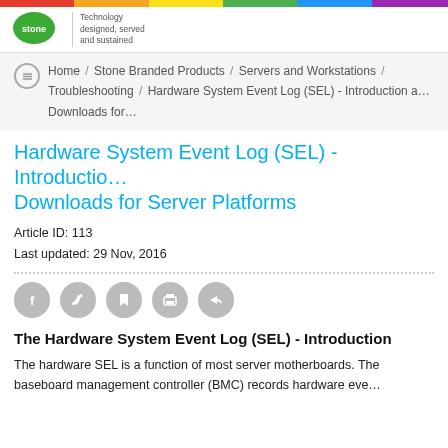Stone Technology — Technology designed, served and sustained
Home / Stone Branded Products / Servers and Workstations / Troubleshooting / Hardware System Event Log (SEL) - Introduction a… Downloads for…
Hardware System Event Log (SEL) - Introduction Downloads for Server Platforms
Article ID: 113
Last updated: 29 Nov, 2016
[Figure (other): Social sharing icons: Facebook, Twitter, Bookmark, Print, Share]
The Hardware System Event Log (SEL) - Introduction
The hardware SEL is a function of most server motherboards. The baseboard management controller (BMC) records hardware eve…